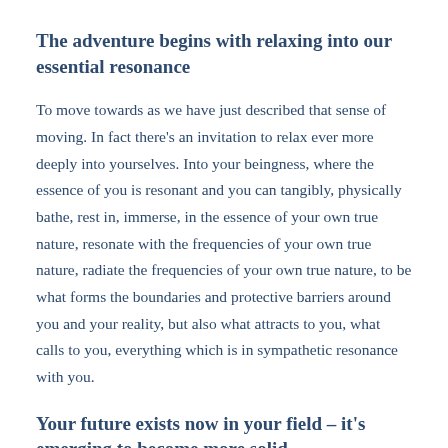The adventure begins with relaxing into our essential resonance
To move towards as we have just described that sense of moving. In fact there's an invitation to relax ever more deeply into yourselves. Into your beingness, where the essence of you is resonant and you can tangibly, physically bathe, rest in, immerse, in the essence of your own true nature, resonate with the frequencies of your own true nature, radiate the frequencies of your own true nature, to be what forms the boundaries and protective barriers around you and your reality, but also what attracts to you, what calls to you, everything which is in sympathetic resonance with you.
Your future exists now in your field – it's emerging to become more solid